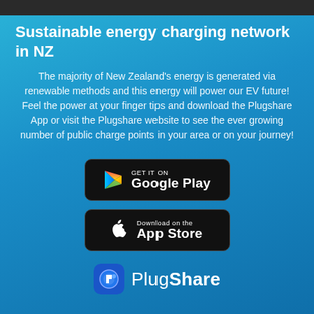Sustainable energy charging network in NZ
The majority of New Zealand's energy is generated via renewable methods and this energy will power our EV future! Feel the power at your finger tips and download the Plugshare App or visit the Plugshare website to see the ever growing number of public charge points in your area or on your journey!
[Figure (logo): Google Play store download badge with colorful triangle logo]
[Figure (logo): Apple App Store download badge with Apple logo]
[Figure (logo): PlugShare logo icon and wordmark]